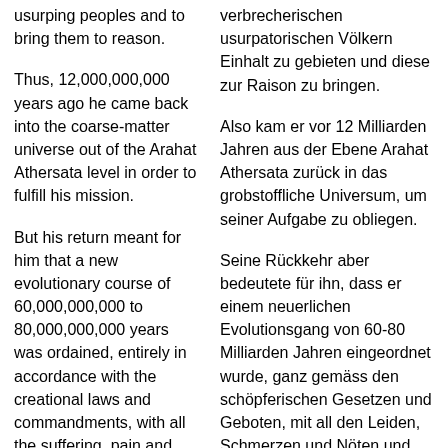usurping peoples and to bring them to reason.
verbrecherischen usurpatorischen Völkern Einhalt zu gebieten und diese zur Raison zu bringen.
Thus, 12,000,000,000 years ago he came back into the coarse-matter universe out of the Arahat Athersata level in order to fulfill his mission.
Also kam er vor 12 Milliarden Jahren aus der Ebene Arahat Athersata zurück in das grobstoffliche Universum, um seiner Aufgabe zu obliegen.
But his return meant for him that a new evolutionary course of 60,000,000,000 to 80,000,000,000 years was ordained, entirely in accordance with the creational laws and commandments, with all the suffering, pain and need and all things which also.
Seine Rückkehr aber bedeutete für ihn, dass er einem neuerlichen Evolutionsgang von 60-80 Milliarden Jahren eingeordnet wurde, ganz gemäss den schöpferischen Gesetzen und Geboten, mit all den Leiden, Schmerzen und Nöten und jeglichen